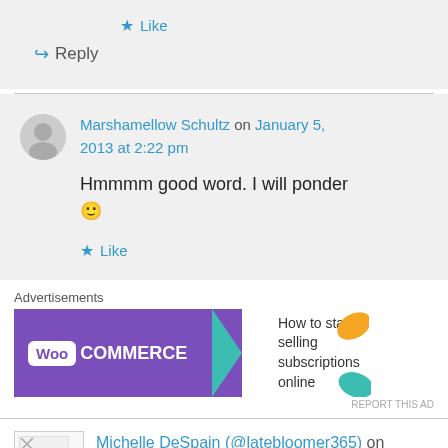★ Like
↪ Reply
Marshamellow Schultz on January 5, 2013 at 2:22 pm
Hmmmm good word. I will ponder 🙂
★ Like
Advertisements
[Figure (illustration): WooCommerce advertisement banner: purple background with WooCommerce logo and text 'How to start selling subscriptions online' with decorative shapes]
REPORT THIS AD
Michelle DeSpain (@latebloomer365) on January 5,